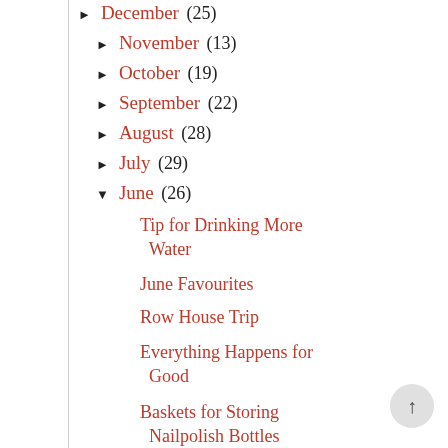▶ December (25)
▶ November (13)
▶ October (19)
▶ September (22)
▶ August (28)
▶ July (29)
▼ June (26)
Tip for Drinking More Water
June Favourites
Row House Trip
Everything Happens for Good
Baskets for Storing Nailpolish Bottles